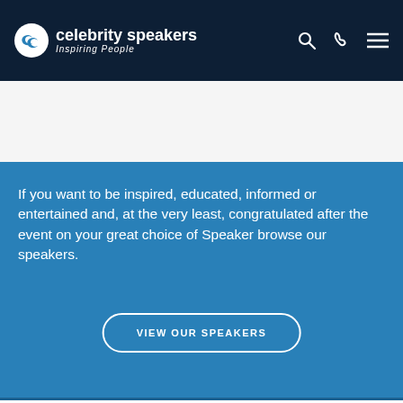celebrity speakers Inspiring People
If you want to be inspired, educated, informed or entertained and, at the very least, congratulated after the event on your great choice of Speaker browse our speakers.
VIEW OUR SPEAKERS